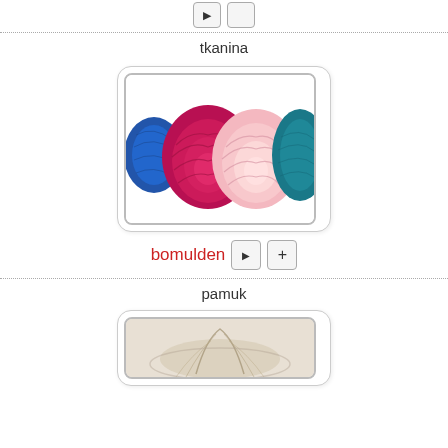[Figure (other): Two small UI buttons (play and plus) at top center]
tkanina
[Figure (photo): Photo of colorful yarn balls (blue, red/pink, light pink, teal) on white background, shown in a rounded card frame]
bomulden
pamuk
[Figure (photo): Partial photo of what appears to be dried plants or fibers in a bowl, shown in a rounded card frame at the bottom of the page]